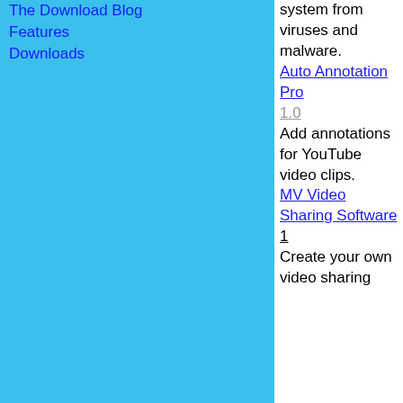The Download Blog
Features
Downloads
system from viruses and malware.
Auto Annotation Pro 1.0
Add annotations for YouTube video clips.
MV Video Sharing Software 1
Create your own video sharing